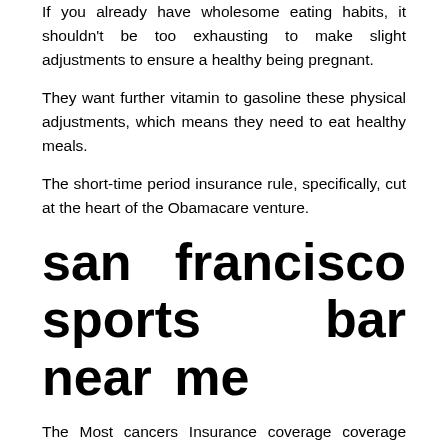If you already have wholesome eating habits, it shouldn't be too exhausting to make slight adjustments to ensure a healthy being pregnant.
They want further vitamin to gasoline these physical adjustments, which means they need to eat healthy meals.
The short-time period insurance rule, specifically, cut at the heart of the Obamacare venture.
san francisco sports bar near me
The Most cancers Insurance coverage coverage presents coverage to individuals in the age group of 1 day to 70 years. As a substitute of being subjected to the immense strain of discovering a terrific job with ample insurance coverage, you'll take on part-time work all of a discount...